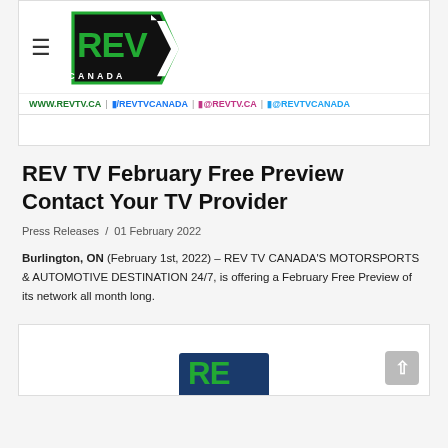[Figure (logo): REV TV Canada logo — white chevron shield with green 'REV' letters and 'CANADA' text, with hamburger menu icon to the left]
WWW.REVTV.CA | /REVTVCANADA | @REVTV.CA | @REVTVCANADA
REV TV February Free Preview Contact Your TV Provider
Press Releases / 01 February 2022
Burlington, ON (February 1st, 2022) – REV TV CANADA'S MOTORSPORTS & AUTOMOTIVE DESTINATION 24/7, is offering a February Free Preview of its network all month long.
[Figure (logo): Partial REV TV logo on dark blue background, cut off at bottom of page]